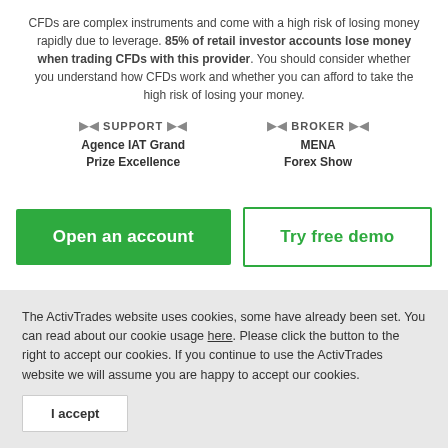CFDs are complex instruments and come with a high risk of losing money rapidly due to leverage. 85% of retail investor accounts lose money when trading CFDs with this provider. You should consider whether you understand how CFDs work and whether you can afford to take the high risk of losing your money.
[Figure (other): Two award badges: 'SUPPORT - Agence IAT Grand Prize Excellence' and 'BROKER - MENA Forex Show']
Open an account
Try free demo
The ActivTrades website uses cookies, some have already been set. You can read about our cookie usage here. Please click the button to the right to accept our cookies. If you continue to use the ActivTrades website we will assume you are happy to accept our cookies.
I accept